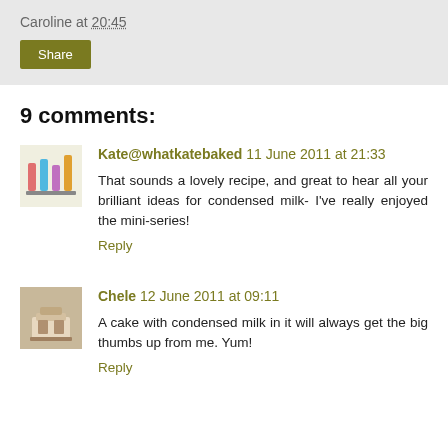Caroline at 20:45
Share
9 comments:
Kate@whatkatebaked  11 June 2011 at 21:33
That sounds a lovely recipe, and great to hear all your brilliant ideas for condensed milk- I've really enjoyed the mini-series!
Reply
Chele  12 June 2011 at 09:11
A cake with condensed milk in it will always get the big thumbs up from me. Yum!
Reply